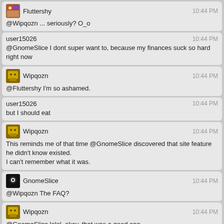Fluttershy 10:44 PM
@Wipqozn ... seriously? O_o
user15026 10:44 PM
@GnomeSlice I dont super want to, because my finances suck so hard right now
Wipqozn 10:44 PM
@Fluttershy I'm so ashamed.
user15026 10:44 PM
but I should eat
Wipqozn 10:44 PM
This reminds me of that time @GnomeSlice discovered that site feature he didn't know existed.
I can't remember what it was.
GnomeSlice 10:44 PM
@Wipqozn The FAQ?
Wipqozn 10:44 PM
@GnomeSlice lolol, okay, that was a good one.
Fluttershy 10:44 PM
@Wipqozn It reminds me of that time someone said they'd had their 3DS since launch and didn't know the stylus could extend.
Wipqozn 10:45 PM